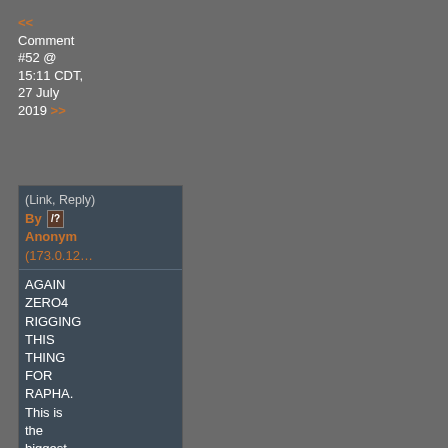<< Comment #52 @ 15:11 CDT, 27 July 2019 >>
(Link, Reply) By [?] Anonymous (173.0.12...
AGAIN ZERO4 RIGGING THIS THING FOR RAPHA. This is the biggest joke ever, Rapha's a fucking low life loser, this is going on